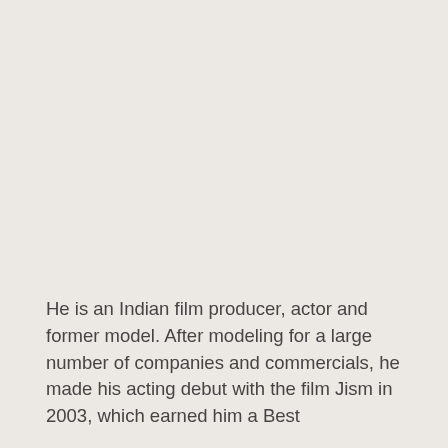He is an Indian film producer, actor and former model. After modeling for a large number of companies and commercials, he made his acting debut with the film Jism in 2003, which earned him a Best